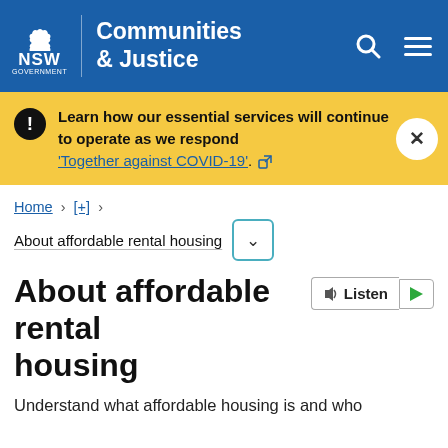[Figure (logo): NSW Government Communities & Justice logo with navigation icons]
Learn how our essential services will continue to operate as we respond 'Together against COVID-19'.
Home > [+] > About affordable rental housing
About affordable rental housing
Understand what affordable housing is and who